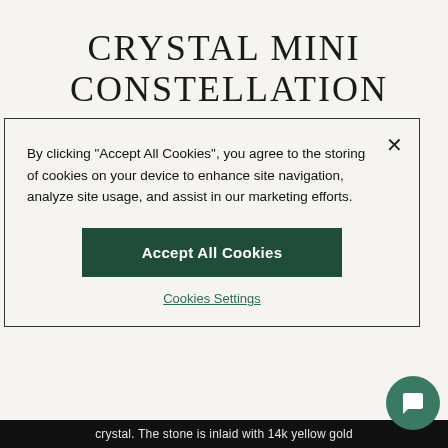CRYSTAL MINI CONSTELLATION OF LIFE NECKLACE
By Bleeker & Prince
By clicking "Accept All Cookies", you agree to the storing of cookies on your device to enhance site navigation, analyze site usage, and assist in our marketing efforts.
Accept All Cookies
Cookies Settings
crystal. The stone is inlaid with 14k yellow gold